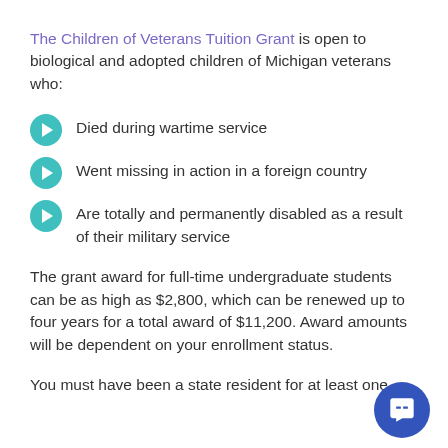The Children of Veterans Tuition Grant is open to biological and adopted children of Michigan veterans who:
Died during wartime service
Went missing in action in a foreign country
Are totally and permanently disabled as a result of their military service
The grant award for full-time undergraduate students can be as high as $2,800, which can be renewed up to four years for a total award of $11,200. Award amounts will be dependent on your enrollment status.
You must have been a state resident for at least one